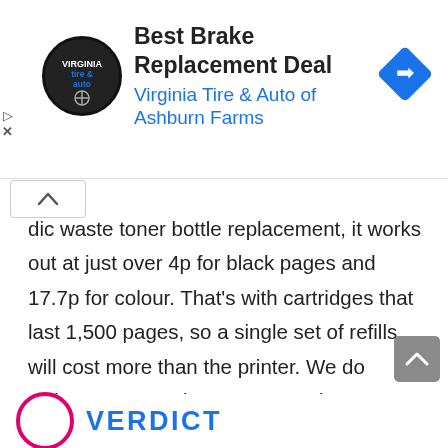[Figure (other): Advertisement banner for Virginia Tire & Auto of Ashburn Farms - Best Brake Replacement Deal, with circular logo and blue navigation arrow icon]
dic waste toner bottle replacement, it works out at just over 4p for black pages and 17.7p for colour. That's with cartridges that last 1,500 pages, so a single set of refills will cost more than the printer. We do welcome Lexmark's assurance that you can print in black without replacing the colour toners, which makes this far more practical for occasional colour printing than many lasers. But even printing in black is expensive.
[Figure (other): Partially visible verdict section at bottom with pink/red circle and VERDICT text in blue]